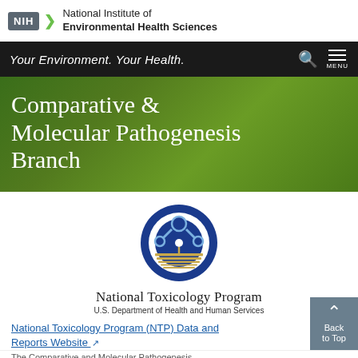[Figure (logo): NIH logo: dark gray box with NIH text, green arrow chevron, and text 'National Institute of Environmental Health Sciences']
Your Environment. Your Health.
Comparative & Molecular Pathogenesis Branch
[Figure (logo): National Toxicology Program logo: circular blue and gold emblem with molecular imagery, text 'National Toxicology Program' and 'U.S. Department of Health and Human Services']
National Toxicology Program (NTP) Data and Reports Website [external link]